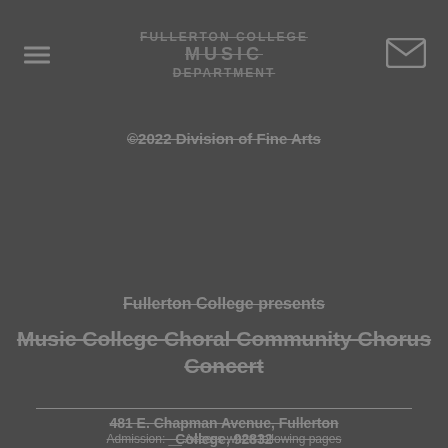FULLERTON COLLEGE MUSIC DEPARTMENT
2022 Division of Fine Arts
Fullerton College presents
Music College Choral Community Chorus Concert
481 E. Chapman Avenue, Fullerton College, 92832
Admission: __ Access when following pages